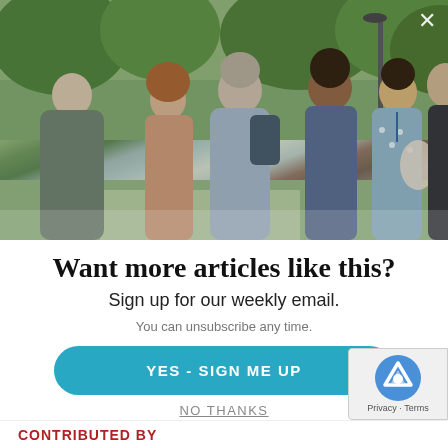[Figure (photo): Group of people conversing outdoors in a park setting, with green trees in the background]
Want more articles like this?
Sign up for our weekly email.
You can unsubscribe any time.
YES - SIGN ME UP
NO THANKS
CONTRIBUTED BY